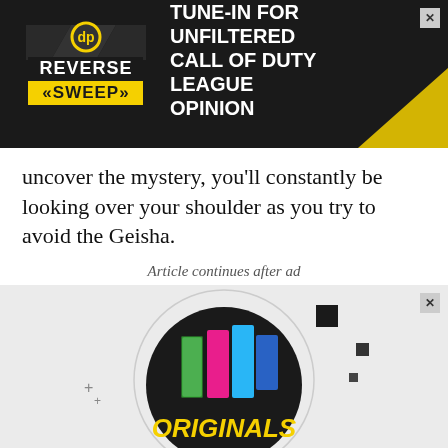[Figure (screenshot): Advertisement banner for 'Reverse Sweep' show. Dark background with Reverse Sweep logo on left and text 'TUNE-IN FOR UNFILTERED CALL OF DUTY LEAGUE OPINION' on right. Yellow diagonal stripe accent in lower right corner.]
uncover the mystery, you’ll constantly be looking over your shoulder as you try to avoid the Geisha.
Article continues after ad
[Figure (screenshot): Advertisement for 'Originals' content. Light gray background with circular dark design featuring colorful stylized building/bar chart graphics and 'ORIGINALS' text in yellow bubble letters.]
[Figure (screenshot): Bottom advertisement bar for 'Untold Influencer Stories'. Dark background with Originals logo on left, Untold Influencer Stories text in center, and LEARN MORE button on right.]